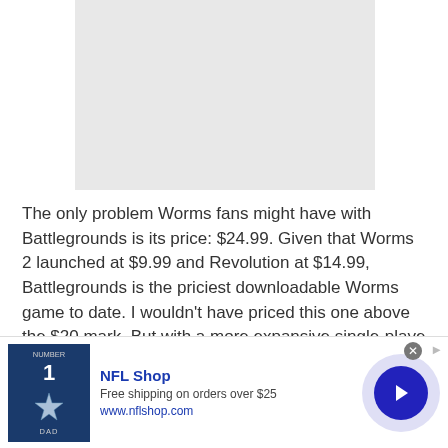[Figure (photo): Gray placeholder image rectangle]
The only problem Worms fans might have with Battlegrounds is its price: $24.99. Given that Worms 2 launched at $9.99 and Revolution at $14.99, Battlegrounds is the priciest downloadable Worms game to date. I wouldn't have priced this one above the $20 mark. But with a more expansive single-player
[Figure (illustration): NFL Shop advertisement banner with Dallas Cowboys jersey image, NFL Shop text, free shipping offer, and navigation arrow]